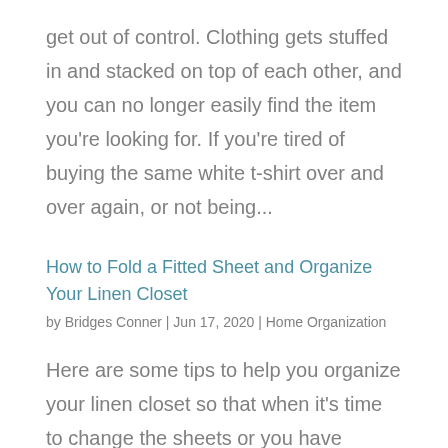get out of control. Clothing gets stuffed in and stacked on top of each other, and you can no longer easily find the item you're looking for. If you're tired of buying the same white t-shirt over and over again, or not being...
How to Fold a Fitted Sheet and Organize Your Linen Closet
by Bridges Conner | Jun 17, 2020 | Home Organization
Here are some tips to help you organize your linen closet so that when it's time to change the sheets or you have guests